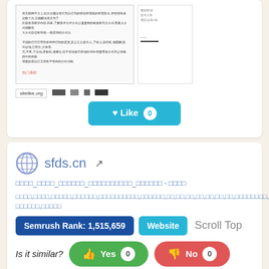[Figure (screenshot): Screenshot of a Chinese website page with text content, alongside a side panel screenshot]
[Figure (screenshot): sitelike.org toolbar with icons]
[Figure (other): Like button with count 0 in teal/cyan color]
[Figure (logo): Globe icon representing sfds.cn website]
sfds.cn
□□□□_□□□□_□□□□□□_□□□□□□□□□□_□□□□□□ - □□□□
□□□□,□□□□,□□□□□,□□□□□□,□□□□□□□□□□,□□□□□□,□□,□□,□□,□□,□□,□□,□□,□□□□□□□□,□□□□□□,□□□□□
Semrush Rank: 1,515,659
Website
Scroll Top
Is it similar?
Yes 0
No 0
[Figure (screenshot): Partial screenshot of 118CHA website with green header bar]